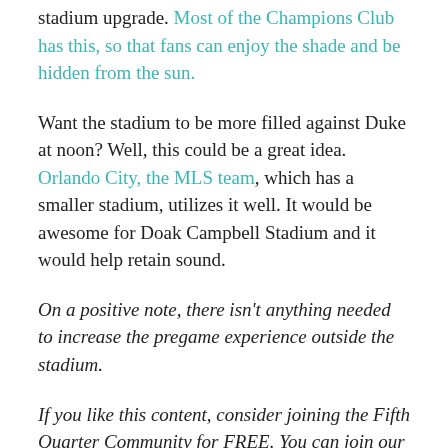stadium upgrade. Most of the Champions Club has this, so that fans can enjoy the shade and be hidden from the sun.
Want the stadium to be more filled against Duke at noon? Well, this could be a great idea. Orlando City, the MLS team, which has a smaller stadium, utilizes it well. It would be awesome for Doak Campbell Stadium and it would help retain sound.
On a positive note, there isn't anything needed to increase the pregame experience outside the stadium.
If you like this content, consider joining the Fifth Quarter Community for FREE. You can join our message board with 500+ members or the Discord Server with 1,000+ members. Come talk college football or anything off topic.